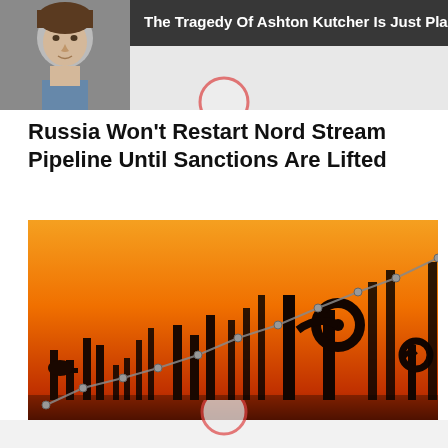[Figure (photo): Advertisement banner showing a man's headshot alongside text 'The Tragedy Of Ashton Kutcher Is Just Plain Sad' on dark background]
Russia Won't Restart Nord Stream Pipeline Until Sanctions Are Lifted
[Figure (photo): Oil pump jacks silhouetted against an orange sunset sky with an overlaid line graph showing an upward trend]